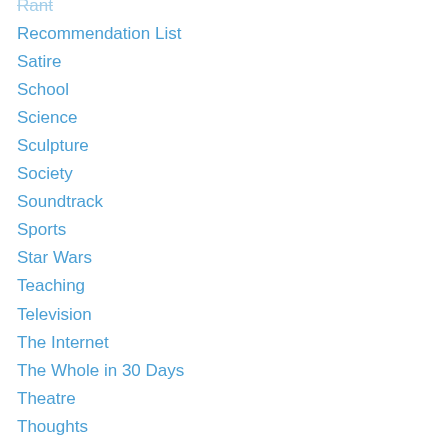Rant
Recommendation List
Satire
School
Science
Sculpture
Society
Soundtrack
Sports
Star Wars
Teaching
Television
The Internet
The Whole in 30 Days
Theatre
Thoughts
Travel
Uncategorized
Unwell
Vacation